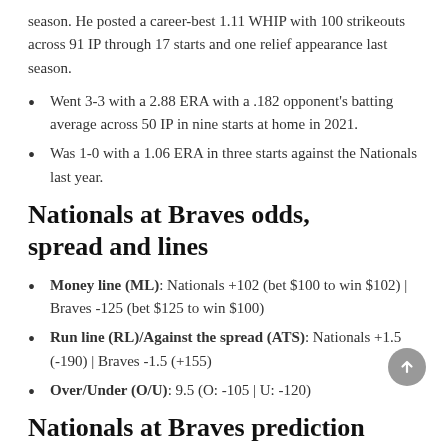season. He posted a career-best 1.11 WHIP with 100 strikeouts across 91 IP through 17 starts and one relief appearance last season.
Went 3-3 with a 2.88 ERA with a .182 opponent's batting average across 50 IP in nine starts at home in 2021.
Was 1-0 with a 1.06 ERA in three starts against the Nationals last year.
Nationals at Braves odds, spread and lines
Money line (ML): Nationals +102 (bet $100 to win $102) | Braves -125 (bet $125 to win $100)
Run line (RL)/Against the spread (ATS): Nationals +1.5 (-190) | Braves -1.5 (+155)
Over/Under (O/U): 9.5 (O: -105 | U: -120)
Nationals at Braves prediction